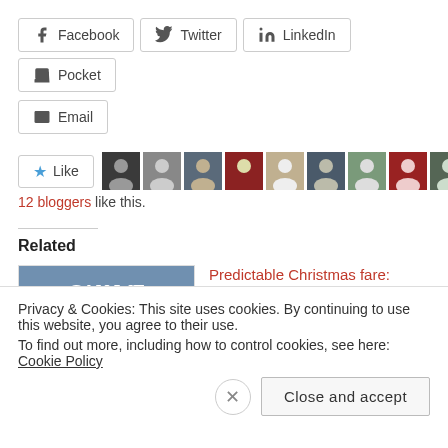Facebook
Twitter
LinkedIn
Pocket
Email
12 bloggers like this.
Related
[Figure (photo): Book cover: Can We Still Believe]
Predictable Christmas fare: Newsweek's Tirade against the Bible
Every year, at Christmas and Easter, several major
Privacy & Cookies: This site uses cookies. By continuing to use this website, you agree to their use. To find out more, including how to control cookies, see here: Cookie Policy
Close and accept